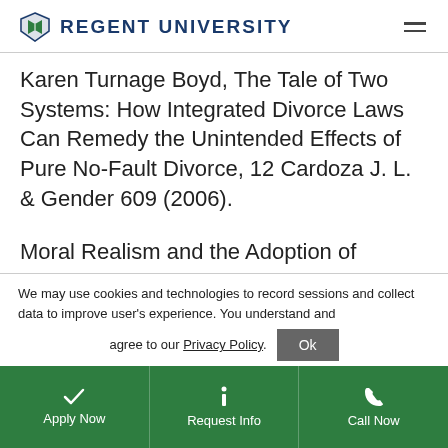Regent University
Karen Turnage Boyd, The Tale of Two Systems: How Integrated Divorce Laws Can Remedy the Unintended Effects of Pure No-Fault Divorce, 12 Cardoza J. L. & Gender 609 (2006).
Moral Realism and the Adoption of
We may use cookies and technologies to record sessions and collect data to improve user's experience. You understand and agree to our Privacy Policy.
Apply Now | Request Info | Call Now